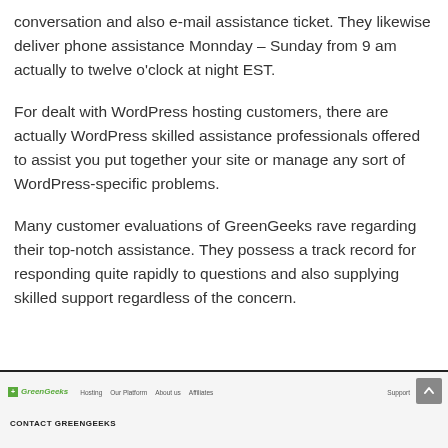conversation and also e-mail assistance ticket. They likewise deliver phone assistance Monnday – Sunday from 9 am actually to twelve o'clock at night EST.
For dealt with WordPress hosting customers, there are actually WordPress skilled assistance professionals offered to assist you put together your site or manage any sort of WordPress-specific problems.
Many customer evaluations of GreenGeeks rave regarding their top-notch assistance. They possess a track record for responding quite rapidly to questions and also supplying skilled support regardless of the concern.
[Figure (screenshot): GreenGeeks website footer/navigation bar with logo, nav links (Hosting, Our Platform, About us, Affiliates), support and login links, and a scroll-to-top button. Below shows 'CONTACT GREENGEEKS' section header.]